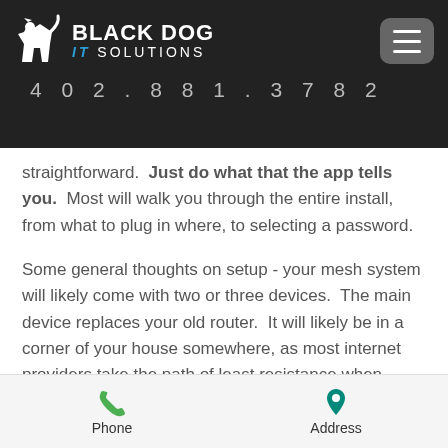BLACK DOG IT SOLUTIONS | 402.881.3782
straightforward.  Just do what that the app tells you.  Most will walk you through the entire install, from what to plug in where, to selecting a password.
Some general thoughts on setup - your mesh system will likely come with two or three devices.  The main device replaces your old router.  It will likely be in a corner of your house somewhere, as most internet providers take the path of least resistance when setting up your
Phone   Address